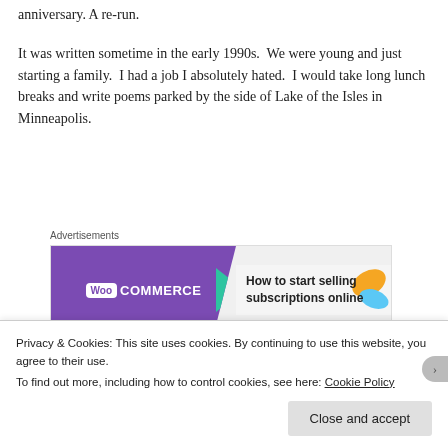anniversary. A re-run.
It was written sometime in the early 1990s.  We were young and just starting a family.  I had a job I absolutely hated.  I would take long lunch breaks and write poems parked by the side of Lake of the Isles in Minneapolis.
[Figure (other): WooCommerce advertisement banner: 'How to start selling subscriptions online']
Long before I discovered girls, back in Marshall,
Privacy & Cookies: This site uses cookies. By continuing to use this website, you agree to their use.
To find out more, including how to control cookies, see here: Cookie Policy